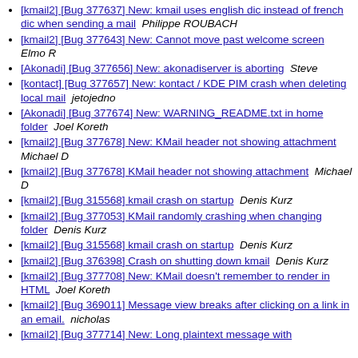[kmail2] [Bug 377637] New: kmail uses english dic instead of french dic when sending a mail   Philippe ROUBACH
[kmail2] [Bug 377643] New: Cannot move past welcome screen   Elmo R
[Akonadi] [Bug 377656] New: akonadiserver is aborting   Steve
[kontact] [Bug 377657] New: kontact / KDE PIM crash when deleting local mail   jetojedno
[Akonadi] [Bug 377674] New: WARNING_README.txt in home folder   Joel Koreth
[kmail2] [Bug 377678] New: KMail header not showing attachment   Michael D
[kmail2] [Bug 377678] KMail header not showing attachment   Michael D
[kmail2] [Bug 315568] kmail crash on startup   Denis Kurz
[kmail2] [Bug 377053] KMail randomly crashing when changing folder   Denis Kurz
[kmail2] [Bug 315568] kmail crash on startup   Denis Kurz
[kmail2] [Bug 376398] Crash on shutting down kmail   Denis Kurz
[kmail2] [Bug 377708] New: KMail doesn't remember to render in HTML   Joel Koreth
[kmail2] [Bug 369011] Message view breaks after clicking on a link in an email.   nicholas
[kmail2] [Bug 377714] New: Long plaintext message with